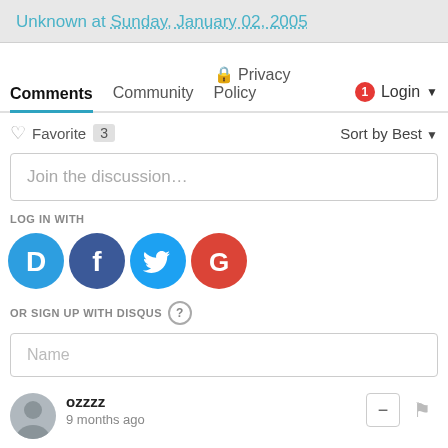Unknown at Sunday, January 02, 2005
Comments  Community  Privacy Policy  Login
Favorite 3  Sort by Best
Join the discussion...
LOG IN WITH
[Figure (infographic): Social login icons: Disqus (D, blue), Facebook (f, dark blue), Twitter (bird, light blue), Google (G, red)]
OR SIGN UP WITH DISQUS (?)
Name
ozzzz
9 months ago